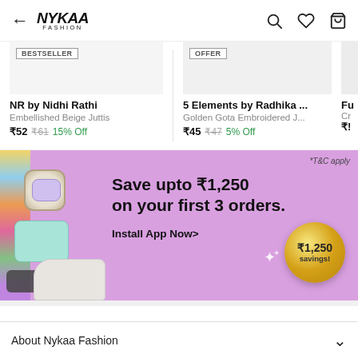← NYKAA FASHION | Search | Wishlist | Cart
[Figure (screenshot): Product card: NR by Nidhi Rathi, Embellished Beige Juttis, ₹52 ₹61 15% Off, BESTSELLER badge]
[Figure (screenshot): Product card: 5 Elements by Radhika ..., Golden Gota Embroidered J..., ₹45 ₹47 5% Off, OFFER badge]
[Figure (infographic): Promotional banner: Save upto ₹1,250 on your first 3 orders. Install App Now>. Coin badge showing ₹1,250 savings!. *T&C apply.]
About Nykaa Fashion